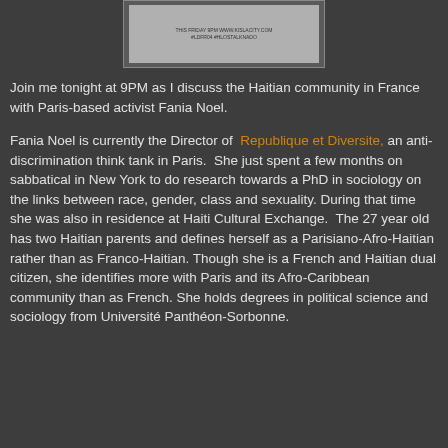[Figure (screenshot): Partial screenshot of a social media post or radio show announcement with light background and small dark text]
Join me tonight at 9PM as I discuss the Haitian community in France with Paris-based activist Fania Noel.
Fania Noel is currently the Director of Republique et Diversite, an anti-discrimination think tank in Paris. She just spent a few months on sabbatical in New York to do research towards a PhD in sociology on the links between race, gender, class and sexuality. During that time she was also in residence at Haiti Cultural Exchange. The 27 year old has two Haitian parents and defines herself as a Parisiano-Afro-Haitian rather than as Franco-Haitian. Though she is a French and Haitian dual citizen, she identifies more with Paris and its Afro-Caribbean community than as French. She holds degrees in political science and sociology from Université Panthéon-Sorbonne.